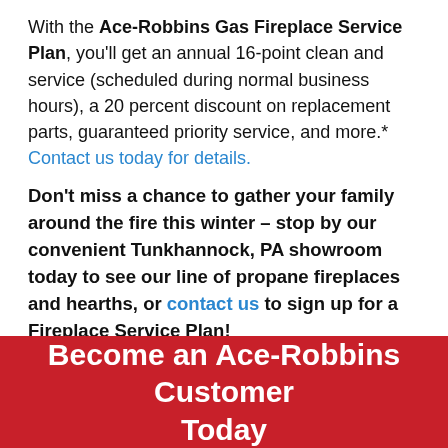With the Ace-Robbins Gas Fireplace Service Plan, you'll get an annual 16-point clean and service (scheduled during normal business hours), a 20 percent discount on replacement parts, guaranteed priority service, and more.* Contact us today for details.
Don't miss a chance to gather your family around the fire this winter – stop by our convenient Tunkhannock, PA showroom today to see our line of propane fireplaces and hearths, or contact us to sign up for a Fireplace Service Plan!
*Coverage available for residential gas fireplaces only. Gas log sets and converted wood fireplaces are excluded.
Become an Ace-Robbins Customer Today